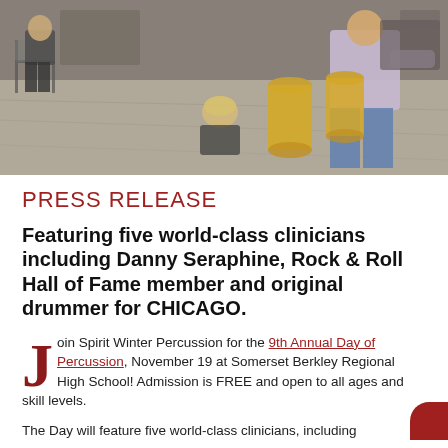[Figure (photo): People in a rehearsal or music room with percussion instruments including congas/bongo drums. A person in a pink/lavender shirt appears to be demonstrating or playing the drums while others observe. Chairs visible on the left side.]
PRESS RELEASE
Featuring five world-class clinicians including Danny Seraphine, Rock & Roll Hall of Fame member and original drummer for CHICAGO.
Join Spirit Winter Percussion for the 9th Annual Day of Percussion, November 19 at Somerset Berkley Regional High School! Admission is FREE and open to all ages and skill levels.
The Day will feature five world-class clinicians, including